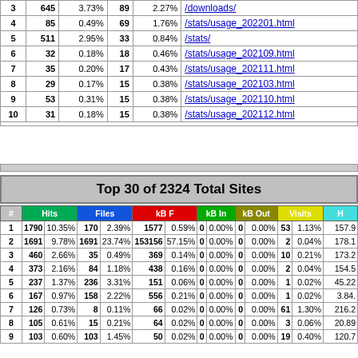| # | Hits | % | Files | % | URL |
| --- | --- | --- | --- | --- | --- |
| 3 | 645 | 3.73% | 89 | 2.27% | /downloads/ |
| 4 | 85 | 0.49% | 69 | 1.76% | /stats/usage_202201.html |
| 5 | 511 | 2.95% | 33 | 0.84% | /stats/ |
| 6 | 32 | 0.18% | 18 | 0.46% | /stats/usage_202109.html |
| 7 | 35 | 0.20% | 17 | 0.43% | /stats/usage_202111.html |
| 8 | 29 | 0.17% | 15 | 0.38% | /stats/usage_202103.html |
| 9 | 53 | 0.31% | 15 | 0.38% | /stats/usage_202110.html |
| 10 | 31 | 0.18% | 15 | 0.38% | /stats/usage_202112.html |
Top 30 of 2324 Total Sites
| # | Hits | % | Files | % | kB F | % | kB In | % | kB Out | % | Visits | % | H |
| --- | --- | --- | --- | --- | --- | --- | --- | --- | --- | --- | --- | --- | --- |
| 1 | 1790 | 10.35% | 170 | 2.39% | 1577 | 0.59% | 0 | 0.00% | 0 | 0.00% | 53 | 1.13% | 157.9 |
| 2 | 1691 | 9.78% | 1691 | 23.74% | 153156 | 57.15% | 0 | 0.00% | 0 | 0.00% | 2 | 0.04% | 178.1 |
| 3 | 460 | 2.66% | 35 | 0.49% | 369 | 0.14% | 0 | 0.00% | 0 | 0.00% | 10 | 0.21% | 173.2 |
| 4 | 373 | 2.16% | 84 | 1.18% | 438 | 0.16% | 0 | 0.00% | 0 | 0.00% | 2 | 0.04% | 154.5 |
| 5 | 237 | 1.37% | 236 | 3.31% | 151 | 0.06% | 0 | 0.00% | 0 | 0.00% | 1 | 0.02% | 45.22 |
| 6 | 167 | 0.97% | 158 | 2.22% | 556 | 0.21% | 0 | 0.00% | 0 | 0.00% | 1 | 0.02% | 3.84 |
| 7 | 126 | 0.73% | 8 | 0.11% | 66 | 0.02% | 0 | 0.00% | 0 | 0.00% | 61 | 1.30% | 216.2 |
| 8 | 105 | 0.61% | 15 | 0.21% | 64 | 0.02% | 0 | 0.00% | 0 | 0.00% | 3 | 0.06% | 20.89 |
| 9 | 103 | 0.60% | 103 | 1.45% | 50 | 0.02% | 0 | 0.00% | 0 | 0.00% | 19 | 0.40% | 120.7 |